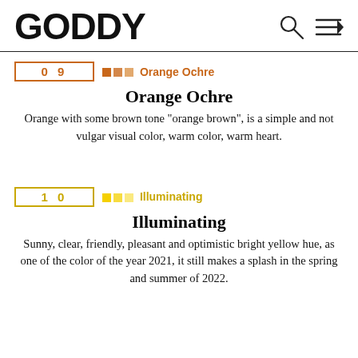GODDY
09  □□□ Orange Ochre
Orange Ochre
Orange with some brown tone "orange brown", is a simple and not vulgar visual color, warm color, warm heart.
10  □□□ Illuminating
Illuminating
Sunny, clear, friendly, pleasant and optimistic bright yellow hue, as one of the color of the year 2021, it still makes a splash in the spring and summer of 2022.